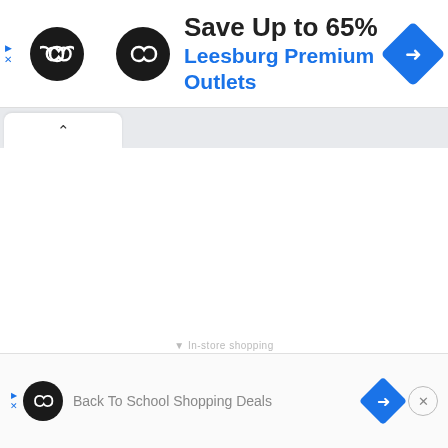[Figure (screenshot): Top advertisement banner: circular black logo with infinity/chain link symbol, bold text 'Save Up to 65%' in dark color, 'Leesburg Premium Outlets' in blue, and a blue diamond navigation icon on the right.]
[Figure (screenshot): Browser tab bar showing an active tab with a caret/chevron up icon, and a blank white content area below.]
[Figure (screenshot): Bottom advertisement strip: ad controls (play/x), circular black logo with infinity symbol, text 'Back To School Shopping Deals' in gray, blue diamond navigation icon, and a close circle button with X.]